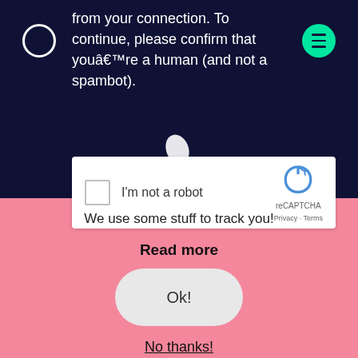from your connection. To continue, please confirm that youâ€™re a human (and not a spambot).
[Figure (other): reCAPTCHA widget with checkbox labeled 'I'm not a robot' and reCAPTCHA logo with Privacy and Terms links]
We use some stuff to track you!
Read more
Ok!
No thanks!